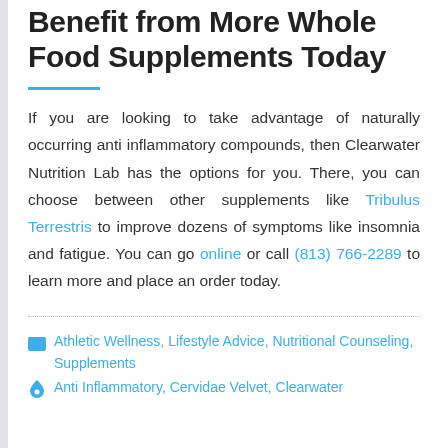Benefit from More Whole Food Supplements Today
If you are looking to take advantage of naturally occurring anti inflammatory compounds, then Clearwater Nutrition Lab has the options for you. There, you can choose between other supplements like Tribulus Terrestris to improve dozens of symptoms like insomnia and fatigue. You can go online or call (813) 766-2289 to learn more and place an order today.
Athletic Wellness, Lifestyle Advice, Nutritional Counseling, Supplements
Anti Inflammatory, Cervidae Velvet, Clearwater